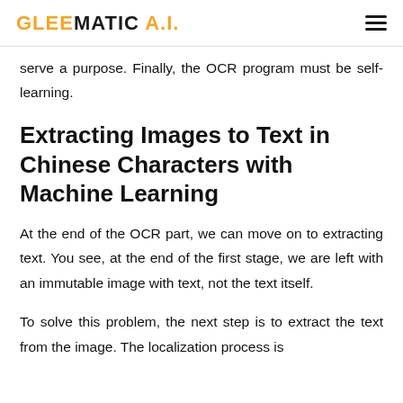GLEEMATIC A.I.
serve a purpose. Finally, the OCR program must be self-learning.
Extracting Images to Text in Chinese Characters with Machine Learning
At the end of the OCR part, we can move on to extracting text. You see, at the end of the first stage, we are left with an immutable image with text, not the text itself.
To solve this problem, the next step is to extract the text from the image. The localization process is